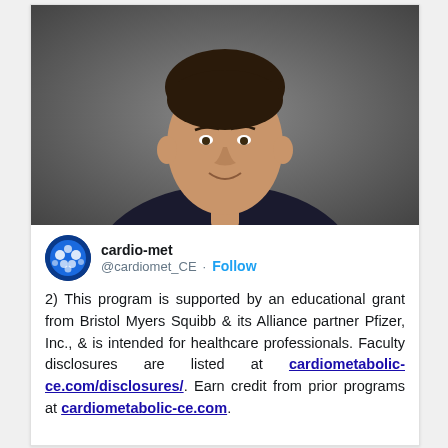[Figure (photo): Headshot of a middle-aged man in a dark suit jacket, light blue dress shirt, and striped tie, smiling, against a dark background.]
cardio-met @cardiomet_CE · Follow
2) This program is supported by an educational grant from Bristol Myers Squibb & its Alliance partner Pfizer, Inc., & is intended for healthcare professionals. Faculty disclosures are listed at cardiometabolic-ce.com/disclosures/. Earn credit from prior programs at cardiometabolic-ce.com.